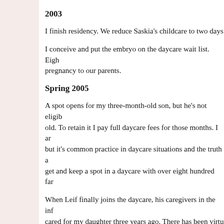2003
I finish residency. We reduce Saskia's childcare to two days
I conceive and put the embryo on the daycare wait list. Eigh pregnancy to our parents.
Spring 2005
A spot opens for my three-month-old son, but he's not eligib old. To retain it I pay full daycare fees for those months. I ar but it's common practice in daycare situations and the truth a get and keep a spot in a daycare with over eight hundred far
When Leif finally joins the daycare, his caregivers in the inf cared for my daughter three years ago. There has been virtu as they did my daughter.
Summer 2006